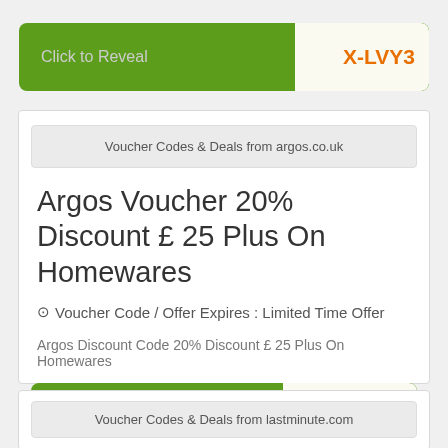[Figure (other): Green 'Click to Reveal' button with orange coupon code tab showing 'X-LVY3']
Voucher Codes & Deals from argos.co.uk
Argos Voucher 20% Discount £ 25 Plus On Homewares
⊙ Voucher Code / Offer Expires : Limited Time Offer
Argos Discount Code 20% Discount £ 25 Plus On Homewares
[Figure (other): Green 'Click to Reveal' button with orange coupon code tab showing 'OME20']
Voucher Codes & Deals from lastminute.com